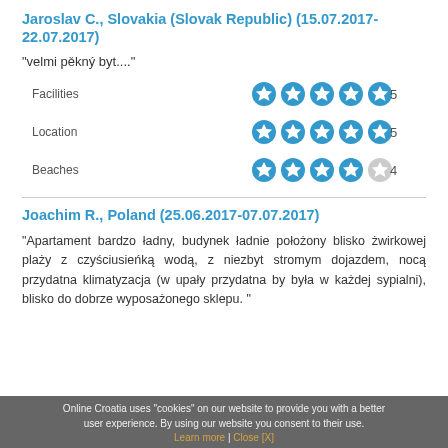Jaroslav C., Slovakia (Slovak Republic) (15.07.2017-22.07.2017)
"velmi pěkný byt...."
| Category | Stars | Score |
| --- | --- | --- |
| Facilities | 5 stars | 5 |
| Location | 5 stars | 5 |
| Beaches | 4 stars | 4 |
Joachim R., Poland (25.06.2017-07.07.2017)
"Apartament bardzo ładny, budynek ładnie położony blisko żwirkowej plaży z czyściusieńką wodą, z niezbyt stromym dojazdem, nocą przydatna klimatyzacja (w upały przydatna by była w każdej sypialni), blisko do dobrze wyposażonego sklepu. "
Online Croatia uses "cookies" on our website to provide you with a better user experience. By using our website you consent to their use. Learn more | Close [X]